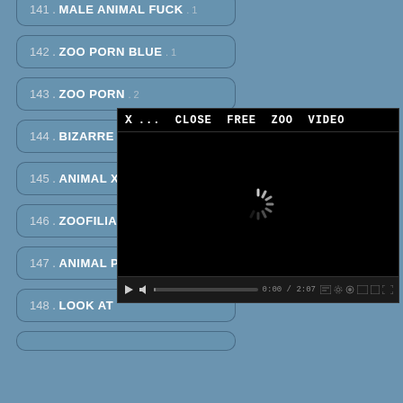141 . MALE ANIMAL FUCK . 1
142 . ZOO PORN BLUE . 1
143 . ZOO PORN . 2
144 . BIZARRE ANIMAL SEX . 3
145 . ANIMAL XXX FREE . 2
146 . ZOOFILIA . (truncated)
147 . ANIMAL P . (truncated)
148 . LOOK AT . (truncated)
[Figure (screenshot): Video popup overlay with title 'X ... CLOSE FREE ZOO VIDEO', black video player area with loading spinner, and media controls showing 0:00 / 2:07]